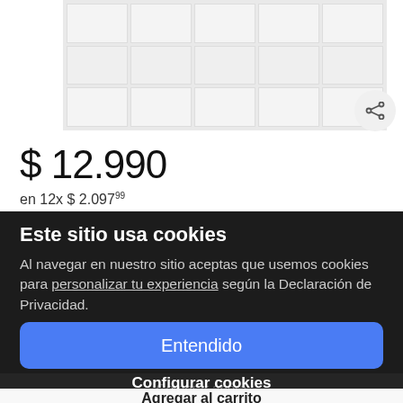[Figure (photo): Product image showing white ceramic subway tiles arranged in a grid pattern, partially visible at top of page]
$ 12.990
en 12x $ 2.09799
Este sitio usa cookies
Al navegar en nuestro sitio aceptas que usemos cookies para personalizar tu experiencia según la Declaración de Privacidad.
Entendido
Comprar ahora
Configurar cookies
Agregar al carrito